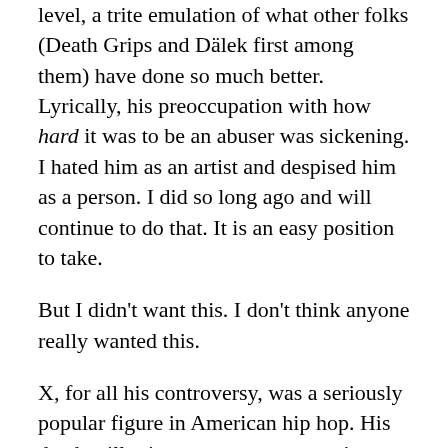level, a trite emulation of what other folks (Death Grips and Dälek first among them) have done so much better. Lyrically, his preoccupation with how hard it was to be an abuser was sickening. I hated him as an artist and despised him as a person. I did so long ago and will continue to do that. It is an easy position to take.
But I didn't want this. I don't think anyone really wanted this.
X, for all his controversy, was a seriously popular figure in American hip hop. His death will raise a great many questions. Some will come already answered, like the link between aggressive music and actual violence (tenuous at best), or the terror of gun crime in America (it remains, shockingly, a problem). Others, like how we should evaluate the artistic legacy of someone like X and what the